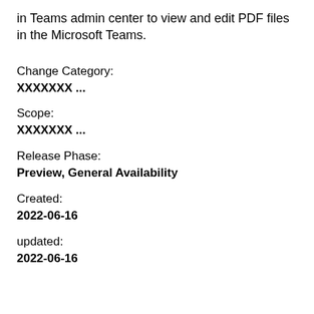in Teams admin center to view and edit PDF files in the Microsoft Teams.
Change Category:
XXXXXXX ...
Scope:
XXXXXXX ...
Release Phase:
Preview, General Availability
Created:
2022-06-16
updated:
2022-06-16